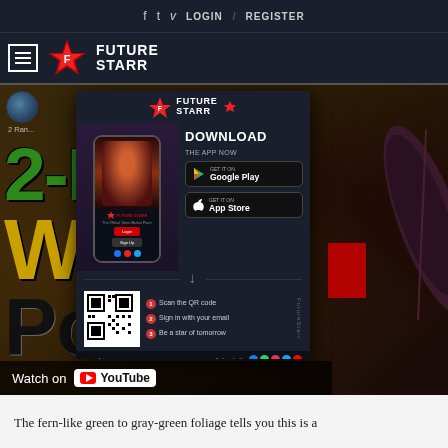f  t  v  LOGIN  /  REGISTER
[Figure (logo): Future Starr logo with red star and white text on dark navy background]
[Figure (screenshot): Hero video thumbnail showing text '2-Rango Wali Pooda' in green, yellow and black large letters with YouTube watch button. Overlaid with Future Starr app download popup showing phone mockup, Google Play and App Store buttons, QR code and steps.]
The fern-like green to gray-green foliage tells you this is a